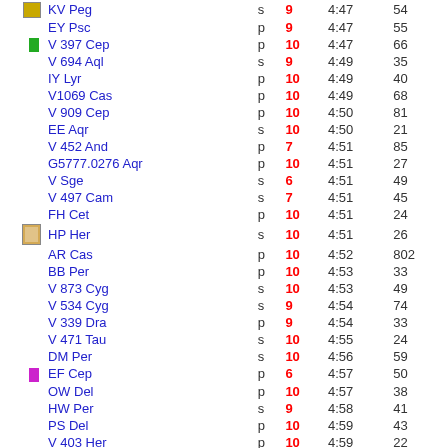| icon | name | type | mag | time | num |
| --- | --- | --- | --- | --- | --- |
|  | KV Peg | s | 9 | 4:47 | 54 |
|  | EY Psc | p | 9 | 4:47 | 55 |
| green-square | V 397 Cep | p | 10 | 4:47 | 66 |
|  | V 694 Aql | s | 9 | 4:49 | 35 |
|  | IY Lyr | p | 10 | 4:49 | 40 |
|  | V1069 Cas | p | 10 | 4:49 | 68 |
|  | V 909 Cep | p | 10 | 4:50 | 81 |
|  | EE Aqr | s | 10 | 4:50 | 21 |
|  | V 452 And | p | 7 | 4:51 | 85 |
|  | G5777.0276 Aqr | p | 10 | 4:51 | 27 |
|  | V Sge | s | 6 | 4:51 | 49 |
|  | V 497 Cam | s | 7 | 4:51 | 45 |
|  | FH Cet | p | 10 | 4:51 | 24 |
| book-icon | HP Her | s | 10 | 4:51 | 26 |
|  | AR Cas | p | 10 | 4:52 | 802 |
|  | BB Per | p | 10 | 4:53 | 33 |
|  | V 873 Cyg | s | 10 | 4:53 | 49 |
|  | V 534 Cyg | s | 9 | 4:54 | 74 |
|  | V 339 Dra | p | 9 | 4:54 | 33 |
|  | V 471 Tau | s | 10 | 4:55 | 24 |
|  | DM Per | s | 10 | 4:56 | 59 |
| magenta-square | EF Cep | p | 6 | 4:57 | 50 |
|  | OW Del | p | 10 | 4:57 | 38 |
|  | HW Per | s | 9 | 4:58 | 41 |
|  | PS Del | p | 10 | 4:59 | 43 |
|  | V 403 Her | p | 10 | 4:59 | 22 |
|  | V1009 Cas | p | 10 | 5:0 | 73 |